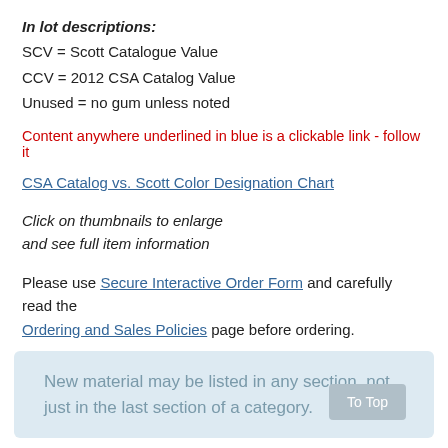In lot descriptions:
SCV = Scott Catalogue Value
CCV = 2012 CSA Catalog Value
Unused = no gum unless noted
Content anywhere underlined in blue is a clickable link - follow it
CSA Catalog vs. Scott Color Designation Chart
Click on thumbnails to enlarge
and see full item information
Please use Secure Interactive Order Form and carefully read the Ordering and Sales Policies page before ordering.
New material may be listed in any section, not just in the last section of a category.